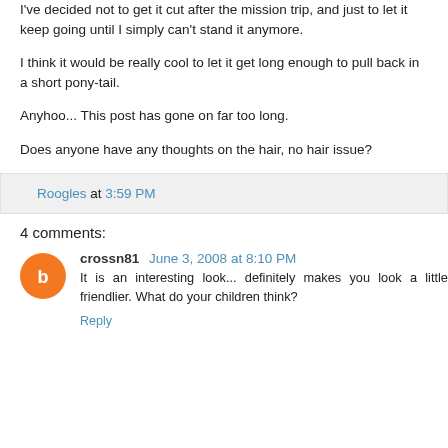I've decided not to get it cut after the mission trip, and just to let it keep going until I simply can't stand it anymore.
I think it would be really cool to let it get long enough to pull back in a short pony-tail.
Anyhoo... This post has gone on far too long.
Does anyone have any thoughts on the hair, no hair issue?
Roogles at 3:59 PM
4 comments:
crossn81 June 3, 2008 at 8:10 PM
It is an interesting look... definitely makes you look a little friendlier. What do your children think?
Reply